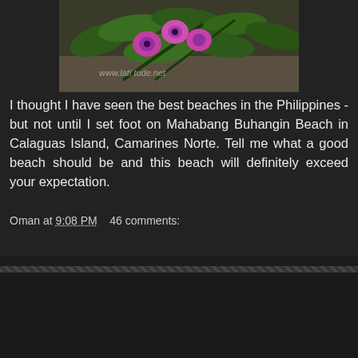[Figure (photo): Photo of pink/purple tropical flowers with green leaves, watermark 'www.latitude.net' visible on the image]
I thought I have seen the best beaches in the Philippines - but not until I set foot on Mahabang Buhangin Beach in Calaguas Island, Camarines Norte. Tell me what a good beach should be and this beach will definitely exceed your expectation.
Oman at 9:08 PM    46 comments:
Share
Home
View web version
Powered by Blogger.